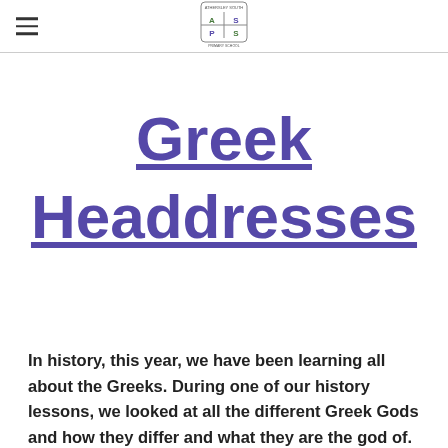Athersley South Primary School
Greek Headdresses
In history, this year, we have been learning all about the Greeks. During one of our history lessons, we looked at all the different Greek Gods and how they differ and what they are the god of. Then, in one of our art lessons